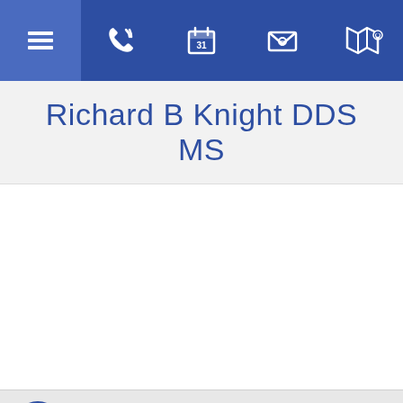[Figure (screenshot): Navigation bar with hamburger menu, phone, calendar (31), email, and map/location icons on blue background]
Richard B Knight DDS MS
[Figure (screenshot): White content area (empty)]
Welcome